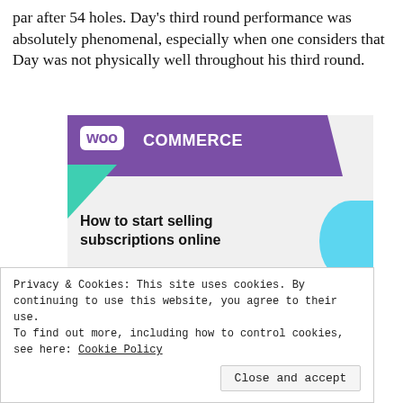par after 54 holes. Day's third round performance was absolutely phenomenal, especially when one considers that Day was not physically well throughout his third round.
[Figure (illustration): WooCommerce advertisement banner with purple logo area, teal triangle accent, light blue arc, and headline 'How to start selling subscriptions online' with a purple button partially visible.]
Privacy & Cookies: This site uses cookies. By continuing to use this website, you agree to their use.
To find out more, including how to control cookies, see here: Cookie Policy
Close and accept